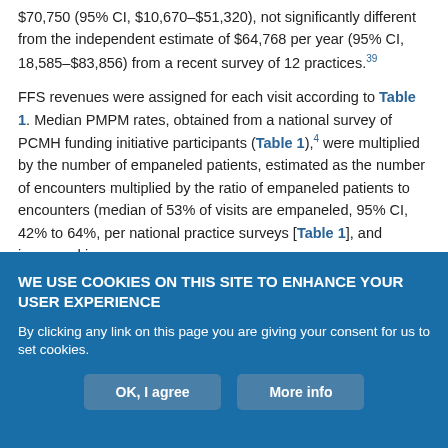$70,750 (95% CI, $10,670–$51,320), not significantly different from the independent estimate of $64,768 per year (95% CI, 18,585–$83,856) from a recent survey of 12 practices.[39]
FFS revenues were assigned for each visit according to Table 1. Median PMPM rates, obtained from a national survey of PCMH funding initiative participants (Table 1),[4] were multiplied by the number of empaneled patients, estimated as the number of encounters multiplied by the ratio of empaneled patients to encounters (median of 53% of visits are empaneled, 95% CI, 42% to 64%, per national practice surveys [Table 1], and increased in
WE USE COOKIES ON THIS SITE TO ENHANCE YOUR USER EXPERIENCE
By clicking any link on this page you are giving your consent for us to set cookies.